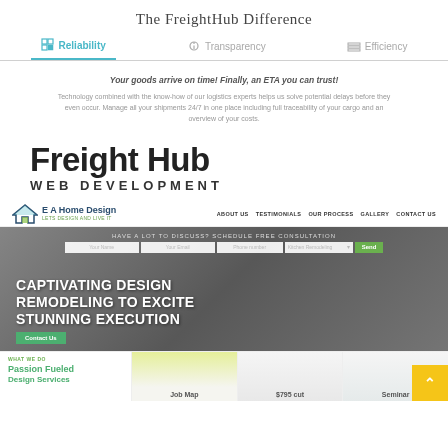The FreightHub Difference
Reliability  Transparency  Efficiency
Your goods arrive on time! Finally, an ETA you can trust!
Technology combined with the know-how of our logistics experts helps us solve potential delays before they even occur. Manage all your shipments 24/7 in one place including full traceability of your cargo and an overview of your costs.
Freight Hub
WEB DEVELOPMENT
[Figure (screenshot): Screenshot of EA Home Design website showing navigation bar with logo, menu items (ABOUT US, TESTIMONIALS, OUR PROCESS, GALLERY, CONTACT US), a hero section with consultation form, large heading text 'CAPTIVATING DESIGN REMODELING TO EXCITE STUNNING EXECUTION', Contact Us button, and bottom section with 'Passion Fueled Design Services', Job Map, $795 cut, and Seminar cards]